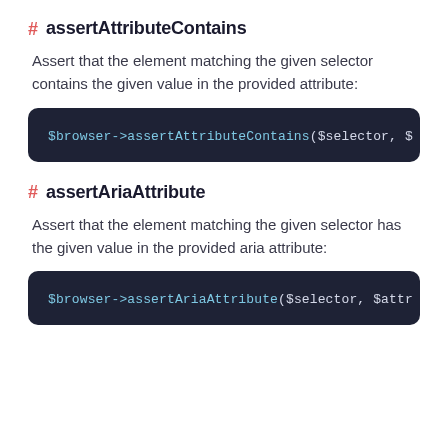# assertAttributeContains
Assert that the element matching the given selector contains the given value in the provided attribute:
$browser->assertAttributeContains($selector, $
# assertAriaAttribute
Assert that the element matching the given selector has the given value in the provided aria attribute:
$browser->assertAriaAttribute($selector, $attr